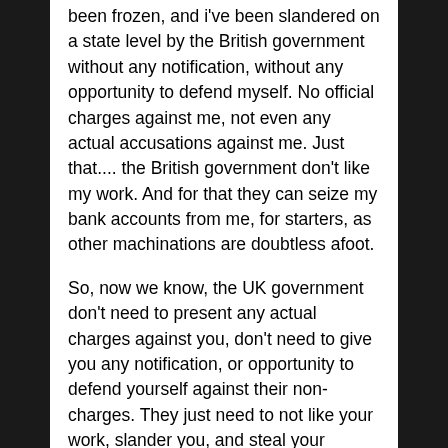been frozen, and i've been slandered on a state level by the British government without any notification, without any opportunity to defend myself. No official charges against me, not even any actual accusations against me. Just that.... the British government don't like my work. And for that they can seize my bank accounts from me, for starters, as other machinations are doubtless afoot.
So, now we know, the UK government don't need to present any actual charges against you, don't need to give you any notification, or opportunity to defend yourself against their non-charges. They just need to not like your work, slander you, and steal your money. So at least we know what we're dealing with here.
Banana republics are looking on at the